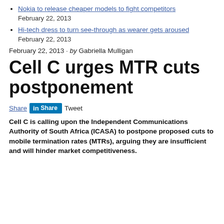Nokia to release cheaper models to fight competitors
February 22, 2013
Hi-tech dress to turn see-through as wearer gets aroused
February 22, 2013
February 22, 2013 · by Gabriella Mulligan
Cell C urges MTR cuts postponement
Share Share Tweet
Cell C is calling upon the Independent Communications Authority of South Africa (ICASA) to postpone proposed cuts to mobile termination rates (MTRs), arguing they are insufficient and will hinder market competitiveness.